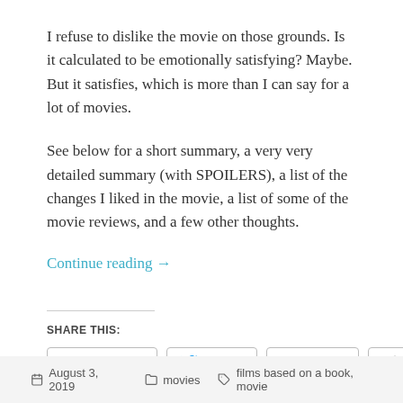I refuse to dislike the movie on those grounds. Is it calculated to be emotionally satisfying? Maybe. But it satisfies, which is more than I can say for a lot of movies.
See below for a short summary, a very very detailed summary (with SPOILERS), a list of the changes I liked in the movie, a list of some of the movie reviews, and a few other thoughts.
Continue reading →
SHARE THIS:
Facebook
Twitter
Tumblr
More
August 3, 2019   movies   films based on a book, movie